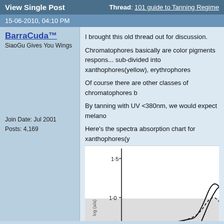View Single Post | Thread: 101 guide to Tanning Regime
15-06-2010, 04:10 PM
BarraCuda™
SiaoGu Gives You Wings
I brought this old thread out for discussion.
Chromatophores basically are color pigments respons... sub-divided into xanthophores(yellow), erythrophores...
Of course there are other classes of chromatophores b...
By tanning with UV <380nm, we would expect melano...
Here's the spectra absorption chart for xanthophores(y...
Join Date: Jul 2001
Posts: 4,169
[Figure (continuous-plot): Spectra absorption chart showing log(a/a) on y-axis with values 1.5 and 1.0 labeled. Two curves visible: a solid line and a dashed line. The lower portion shows a grey background with peaks visible at right side of chart.]